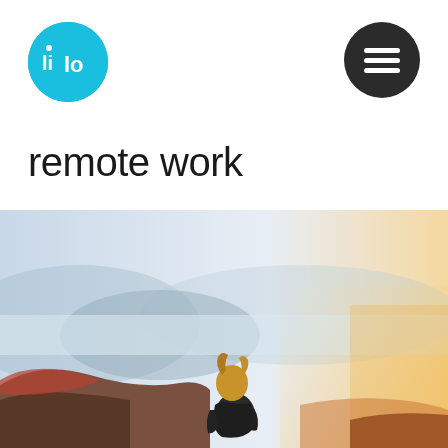[Figure (logo): Lilo logo: a cyan/light-blue circle with white Arabic-style lettering inside]
[Figure (illustration): Dark circular hamburger menu button (three horizontal white lines on dark background)]
remote work
[Figure (photo): A person sitting alone on a hilltop or mountain ledge, seen from behind, with long blonde hair, facing a vast misty landscape with mountains and warm golden light on the right side]